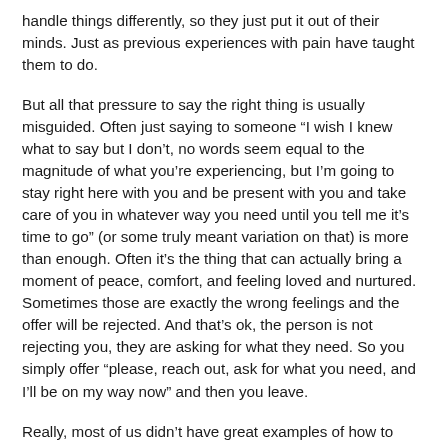handle things differently, so they just put it out of their minds. Just as previous experiences with pain have taught them to do.
But all that pressure to say the right thing is usually misguided. Often just saying to someone “I wish I knew what to say but I don’t, no words seem equal to the magnitude of what you’re experiencing, but I’m going to stay right here with you and be present with you and take care of you in whatever way you need until you tell me it’s time to go” (or some truly meant variation on that) is more than enough. Often it’s the thing that can actually bring a moment of peace, comfort, and feeling loved and nurtured. Sometimes those are exactly the wrong feelings and the offer will be rejected. And that’s ok, the person is not rejecting you, they are asking for what they need. So you simply offer “please, reach out, ask for what you need, and I’ll be on my way now” and then you leave.
Really, most of us didn’t have great examples of how to handle our own pain, let alone someone else’s. So why don’t we talk about this more? Why don’t we share the wisdom on it? Why…